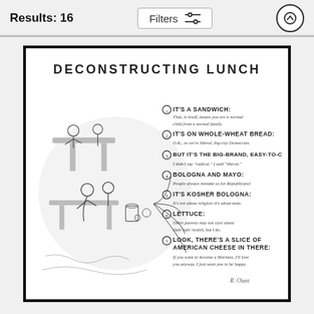Results: 16
Filters
[Figure (illustration): New Yorker style cartoon titled 'Deconstructing Lunch' showing a school cafeteria scene with children eating, and annotated list describing components of a packed lunch: (1) It's a sandwich; (2) It's on whole-wheat bread; (3) But it's the big-brand, easy-to-chew kind; (4) Bologna and mayo; (5) It's kosher bologna; (6) Lettuce; (7) Look, there's a slice of American cheese in there. Signed R. Chast.]